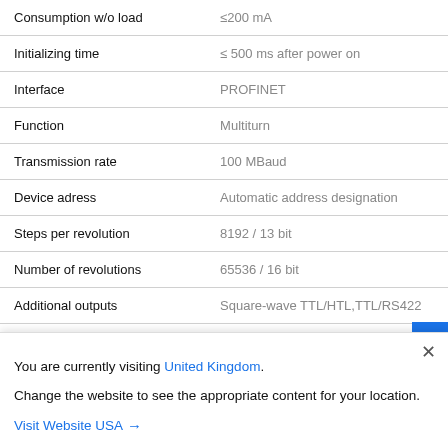| Property | Value |
| --- | --- |
| Consumption w/o load | ≤200 mA |
| Initializing time | ≤ 500 ms after power on |
| Interface | PROFINET |
| Function | Multiturn |
| Transmission rate | 100 MBaud |
| Device adress | Automatic address designation |
| Steps per revolution | 8192 / 13 bit |
| Number of revolutions | 65536 / 16 bit |
| Additional outputs | Square-wave TTL/HTL,TTL/RS422 |
| Interface immunity | EN 61000-6-2 |
| Emitted interference | EN 61000-6-3 |
| Programming interface | RS485 (≤600 m) |
You are currently visiting United Kingdom. Change the website to see the appropriate content for your location. Visit Website USA →